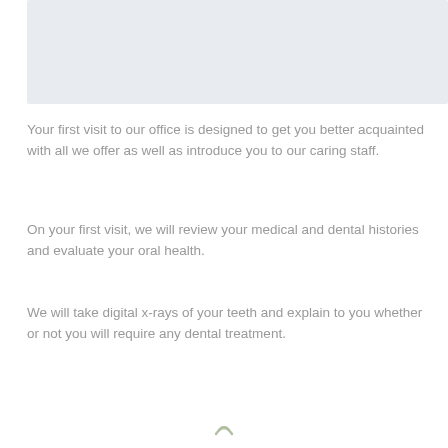[Figure (other): Light blue-grey rectangular image placeholder at the top of the page]
Your first visit to our office is designed to get you better acquainted with all we offer as well as introduce you to our caring staff.
On your first visit, we will review your medical and dental histories and evaluate your oral health.
We will take digital x-rays of your teeth and explain to you whether or not you will require any dental treatment.
[Figure (illustration): Small decorative icon at the bottom center of the page]